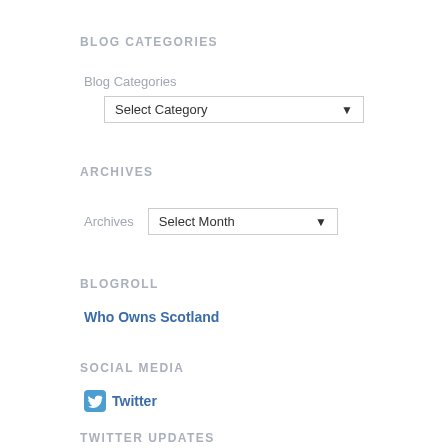BLOG CATEGORIES
Blog Categories
Select Category
ARCHIVES
Archives   Select Month
BLOGROLL
Who Owns Scotland
SOCIAL MEDIA
Twitter
TWITTER UPDATES